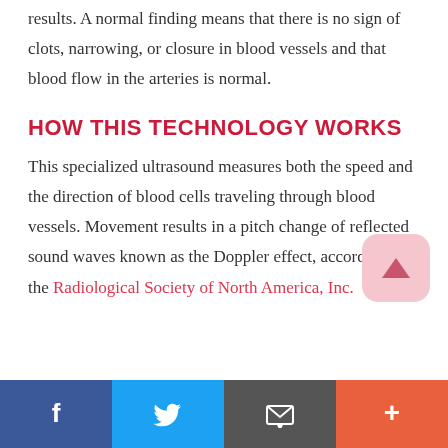results.  A normal finding means that there is no sign of clots, narrowing, or closure in blood vessels and that blood flow in the arteries is normal.
HOW THIS TECHNOLOGY WORKS
This specialized ultrasound measures both the speed and the direction of blood cells traveling through blood vessels.  Movement results in a pitch change of reflected sound waves known as the Doppler effect, according to the Radiological Society of North America, Inc.
[Figure (other): Scroll-to-top button: pink rounded square with upward chevron arrow icon]
Social sharing bar with Facebook, Twitter, Email, and More (+) buttons